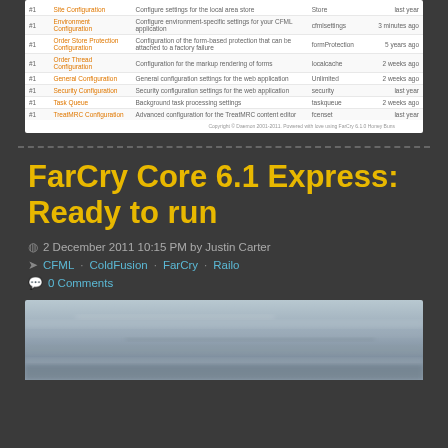| # | Name | Description | Type | Updated |
| --- | --- | --- | --- | --- |
| #1 | Site Configuration | Configure settings for the local area store | Store | Last year |
| #1 | Environment Configuration | Configure environment-specific settings for your CFML application | CfmlSettings | 3 minutes ago |
| #1 | Order Store Protection Configuration | Configuration of the form-based protection that can be attached to a factory failure | FormProtection | 5 years ago |
| #1 | Order Thread Configuration | Configuration for the markup encoding of forms | LocalCache | 2 weeks ago |
| #1 | General Configuration | General configuration settings for the web application | Unlimited | 2 weeks ago |
| #1 | Security Configuration | Security configuration settings for the web application | security | last year |
| #1 | Task Queue | Background task processing settings | taskqueue | 2 weeks ago |
| #1 | TreatMRC Configuration | Advanced configuration for the TreatMRC content editor | fcenset | last year |
Copyright © Daemon 2001-2011. Powered with love using FarCry 6.1.0 Honey Buns
FarCry Core 6.1 Express: Ready to run
2 December 2011 10:15 PM by Justin Carter
CFML · ColdFusion · FarCry · Railo
0 Comments
[Figure (photo): Aerial or landscape photo, appears to show a misty or cloudy seascape/landscape with grey-blue tones]